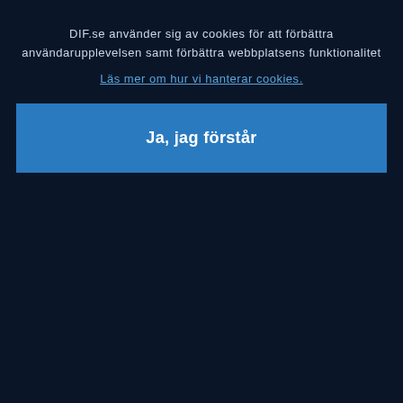DIF.se använder sig av cookies för att förbättra användarupplevelsen samt förbättra webbplatsens funktionalitet
Läs mer om hur vi hanterar cookies.
Ja, jag förstår